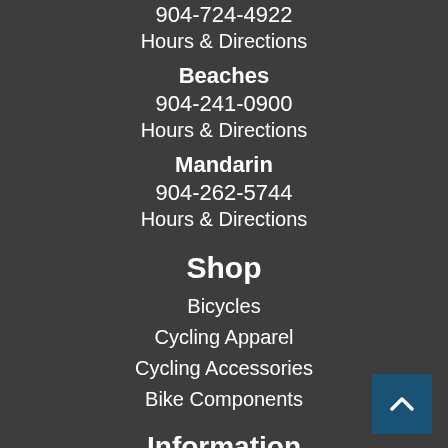904-724-4922
Hours & Directions
Beaches
904-241-0900
Hours & Directions
Mandarin
904-262-5744
Hours & Directions
Shop
Bicycles
Cycling Apparel
Cycling Accessories
Bike Components
Information